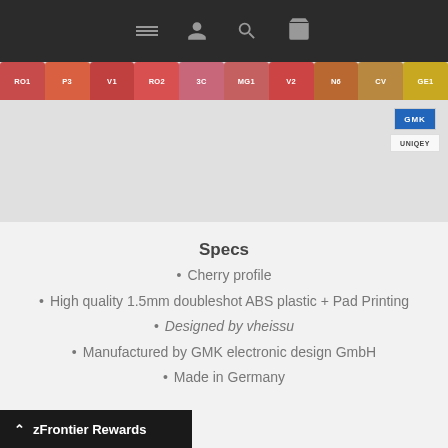Navigation bar with menu, user, search, and cart icons
[Figure (illustration): A horizontal row of colored keycaps labeled RO1, P3, V1, RO2, 3C, MG1, V2, N6, CV, GE1 in shades of red, orange, pink, and yellow, with GMK and UNIQEY logos to the right.]
Specs
Cherry profile
High quality 1.5mm doubleshot ABS plastic + Pad Printing
Designed by vheissu
Manufactured by GMK electronic design GmbH
Made in Germany
zFrontier Rewards